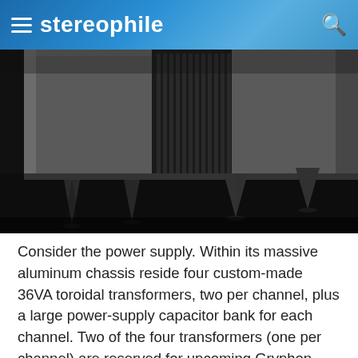stereophile
[Figure (photo): Close-up photograph of a large black aluminum audio amplifier chassis sitting on spike feet on a dark surface, showing brushed metal panels and vertical heat sink fins in the center.]
Consider the power supply. Within its massive aluminum chassis reside four custom-made 36VA toroidal transformers, two per channel, plus a large power-supply capacitor bank for each channel. Two of the four transformers (one per channel) are reserved for upcoming Gryphon source components;